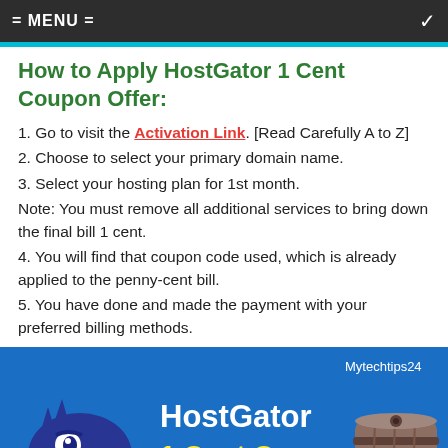= MENU =
How to Apply HostGator 1 Cent Coupon Offer:
1. Go to visit the Activation Link. [Read Carefully A to Z]
2. Choose to select your primary domain name.
3. Select your hosting plan for 1st month.
Note: You must remove all additional services to bring down the final bill 1 cent.
4. You will find that coupon code used, which is already applied to the penny-cent bill.
5. You have done and made the payment with your preferred billing methods.
[Figure (illustration): HostGator 1 Cent Coupon promotional banner with blue background, cartoon gator mascot on the left, text 'HostGator 1 Cent Coupon' in white and yellow, a wooden barrel with $0.01 price tag on the right, and 'Mytechtips24' watermark in top right.]